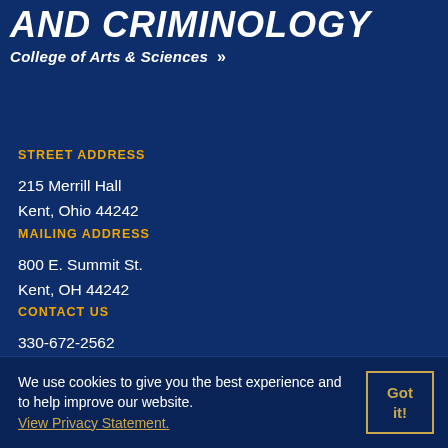AND CRIMINOLOGY
College of Arts & Sciences »
STREET ADDRESS
215 Merrill Hall
Kent, Ohio 44242
MAILING ADDRESS
800 E. Summit St.
Kent, OH 44242
CONTACT US
330-672-2562
We use cookies to give you the best experience and to help improve our website. View Privacy Statement.